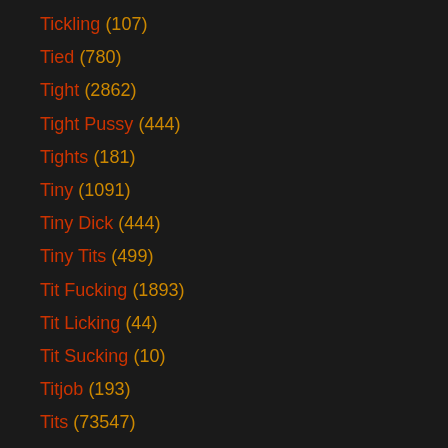Tickling (107)
Tied (780)
Tight (2862)
Tight Pussy (444)
Tights (181)
Tiny (1091)
Tiny Dick (444)
Tiny Tits (499)
Tit Fucking (1893)
Tit Licking (44)
Tit Sucking (10)
Titjob (193)
Tits (73547)
Toes (394)
Toilet (329)
Tongue (312)